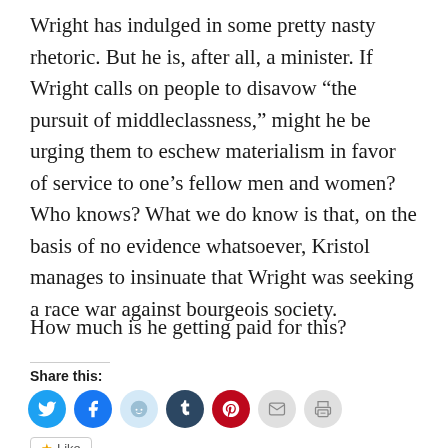Wright has indulged in some pretty nasty rhetoric. But he is, after all, a minister. If Wright calls on people to disavow “the pursuit of middleclassness,” might he be urging them to eschew materialism in favor of service to one’s fellow men and women? Who knows? What we do know is that, on the basis of no evidence whatsoever, Kristol manages to insinuate that Wright was seeking a race war against bourgeois society.
How much is he getting paid for this?
Share this:
[Figure (infographic): Row of social share icon buttons: Twitter (blue), Facebook (blue), Reddit (light blue/gray), Tumblr (dark navy), Pinterest (red), Email (light gray), Print (light gray)]
★ Like